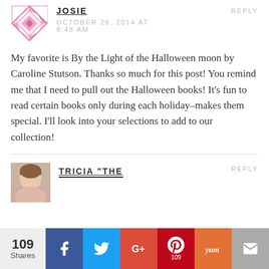[Figure (illustration): Pink geometric quilt-pattern avatar icon for user Josie]
JOSIE
REPLY
OCTOBER 28, 2014 AT 8:48 AM
My favorite is By the Light of the Halloween moon by Caroline Stutson. Thanks so much for this post! You remind me that I need to pull out the Halloween books! It’s fun to read certain books only during each holiday–makes them special. I’ll look into your selections to add to our collection!
[Figure (photo): Profile photo of Tricia]
TRICIA "THE
REPLY
109 Shares
[Figure (infographic): Social sharing bar with Facebook, Twitter, Google+, Pinterest (109), Yummly, and Email buttons]